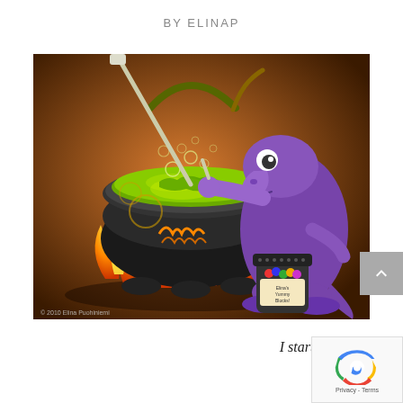BY ELINAP
[Figure (illustration): Cartoon illustration of a purple dinosaur/dragon stirring a bubbling green cauldron over flames, with a jar of colorful letters nearby. Orange background. Copyright 2010 Elina Puohiniemi.]
I started blogging and had my first website created ten years ago! This series is a sneak peek back into those days (and